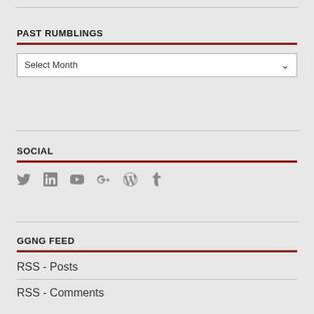PAST RUMBLINGS
[Figure (screenshot): Dropdown selector showing 'Select Month' with a chevron arrow]
SOCIAL
[Figure (infographic): Row of social media icons: Twitter, LinkedIn, YouTube, Google+, WordPress, Tumblr]
GGNG FEED
RSS - Posts
RSS - Comments